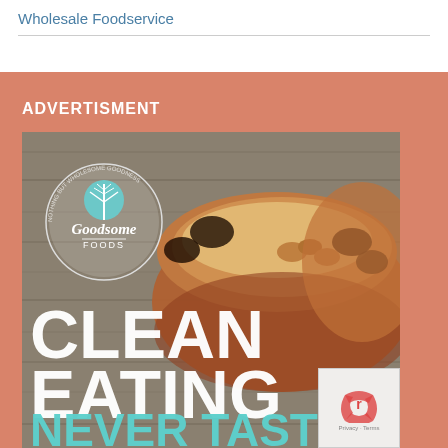Wholesale Foodservice
ADVERTISMENT
[Figure (photo): Advertisement for Goodsome Foods showing a baked loaf with fruits/nuts topping on a wooden background. Large white text reads CLEAN EATING and teal text reads NEVER TASTED. Goodsome Foods logo in top left with circular tree emblem.]